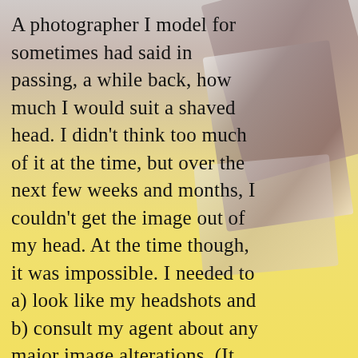[Figure (photo): Background photo showing blurred photographs/headshots on a yellow surface, with a person's torso visible in the upper portion.]
A photographer I model for sometimes had said in passing, a while back, how much I would suit a shaved head. I didn't think too much of it at the time, but over the next few weeks and months, I couldn't get the image out of my head. At the time though, it was impossible. I needed to a) look like my headshots and b) consult my agent about any major image alterations. (It was said awesome photographer who took my